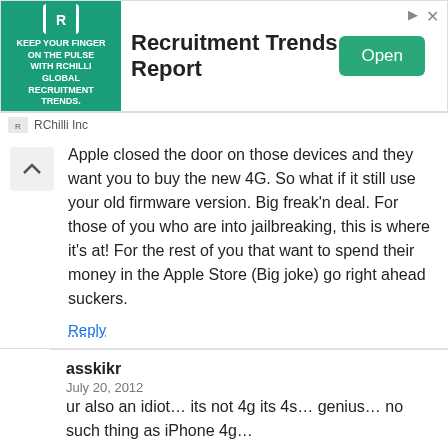[Figure (other): Advertisement banner for RChilli Inc's Recruitment Trends Report with an Open button]
Apple closed the door on those devices and they want you to buy the new 4G. So what if it still use your old firmware version. Big freak'n deal. For those of you who are into jailbreaking, this is where it's at! For the rest of you that want to spend their money in the Apple Store (Big joke) go right ahead suckers.
Reply
asskikr
July 20, 2012
ur also an idiot… its not 4g its 4s… genius… no such thing as iPhone 4g…
Reply
swag
July 29, 2012
and you're just an apple blinded head. all 4g